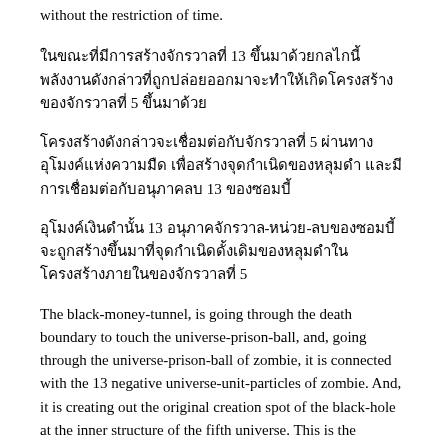without the restriction of time.
ในขณะที่มีการสร้างจักรวาลที่ 13 ขึ้นมาด้วยกลไกนี้ พลังงานดังกล่าวที่ถูกปล่อยออกมาจะทำให้เกิดโครงสร้างของจักรวาลที่ 5 ขึ้นมาด้วย
โครงสร้างดังกล่าวจะเชื่อมต่อกับจักรวาลที่ 5 ผ่านทางอุโมงค์แห่งความมืด เพื่อสร้างจุดกำเนิดของหลุมดำ และมีการเชื่อมต่อกับอนุภาคลบ 13 ของซอมบี้
อุโมงค์เงินดำนั้น 13 อนุภาคจักรวาล-หน่วย-ลบของซอมบี้จะถูกสร้างขึ้นมาที่จุดกำเนิดดั้งเดิมของหลุมดำในโครงสร้างภายในของจักรวาลที่ 5
The black-money-tunnel, is going through the death boundary to touch the universe-prison-ball, and, going through the universe-prison-ball of zombie, it is connected with the 13 negative universe-unit-particles of zombie. And, it is creating out the original creation spot of the black-hole at the inner structure of the fifth universe. This is the structure